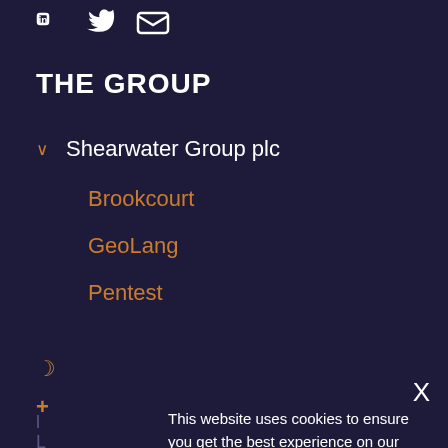[Figure (illustration): Social media icons row: LinkedIn, Twitter/X, and email envelope icons in white]
THE GROUP
Shearwater Group plc
Brookcourt
GeoLang
Pentest
X
This website uses cookies to ensure you get the best experience on our website.
Learn more
Accept
United Kingdom